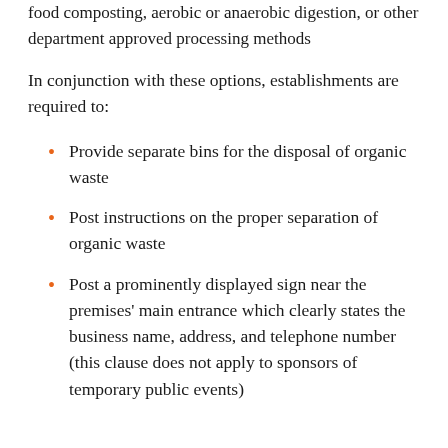food composting, aerobic or anaerobic digestion, or other department approved processing methods
In conjunction with these options, establishments are required to:
Provide separate bins for the disposal of organic waste
Post instructions on the proper separation of organic waste
Post a prominently displayed sign near the premises' main entrance which clearly states the business name, address, and telephone number (this clause does not apply to sponsors of temporary public events)